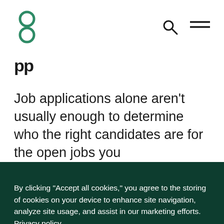Logo and navigation header
Job applications alone aren’t usually enough to determine who the right candidates are for the open jobs you
By clicking “Accept all cookies,” you agree to the storing of cookies on your device to enhance site navigation, analyze site usage, and assist in our marketing efforts. Privacy policy
Cookie preferences
Accept all cookies